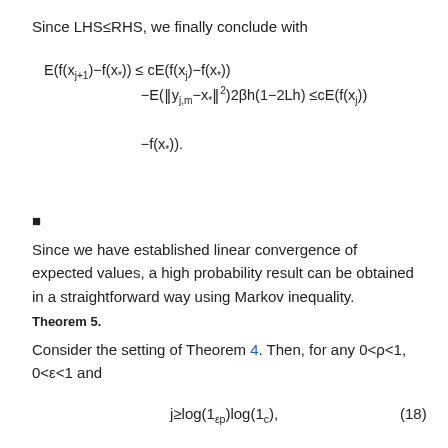Since LHS≤RHS, we finally conclude with
■
Since we have established linear convergence of expected values, a high probability result can be obtained in a straightforward way using Markov inequality.
Theorem 5.
Consider the setting of Theorem 4. Then, for any 0<ρ<1, 0<ε<1 and
(18)